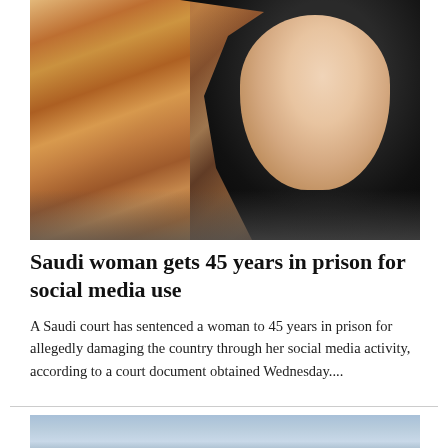[Figure (photo): Photo of a young woman wearing a black hijab and smiling, standing in front of an artwork with orange/red tones on the left side.]
Saudi woman gets 45 years in prison for social media use
A Saudi court has sentenced a woman to 45 years in prison for allegedly damaging the country through her social media activity, according to a court document obtained Wednesday....
[Figure (photo): Partial view of a second image with blue/grey background, cropped at the bottom of the page.]